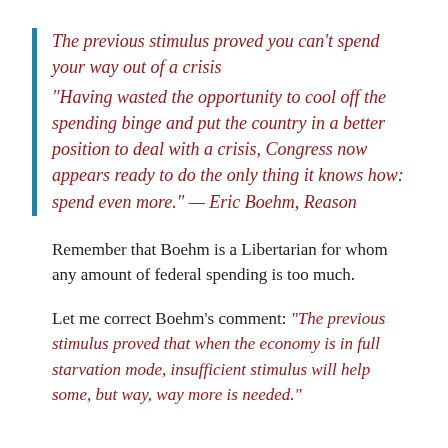The previous stimulus proved you can't spend your way out of a crisis
“Having wasted the opportunity to cool off the spending binge and put the country in a better position to deal with a crisis, Congress now appears ready to do the only thing it knows how: spend even more.” — Eric Boehm, Reason
Remember that Boehm is a Libertarian for whom any amount of federal spending is too much.
Let me correct Boehm’s comment: “The previous stimulus proved that when the economy is in full starvation mode, insufficient stimulus will help some, but way, way more is needed.”